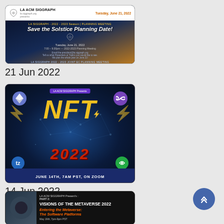[Figure (screenshot): LA ACM SIGGRAPH event card for 'Save the Solstice Planning Date', Tuesday June 21 2022, planning meeting graphic with city lights background]
21 Jun 2022
[Figure (screenshot): LA ACM SIGGRAPH NFT 2022 event card, June 14th 7am PST on Zoom, colorful graphic with large NFT text and cryptocurrency logos]
14 Jun 2022
[Figure (screenshot): LA ACM SIGGRAPH Presents Part 2: Visions of the Metaverse 2022, Entering the Metaverse: The Software Platforms, May 19th 7pm-9pm PST]